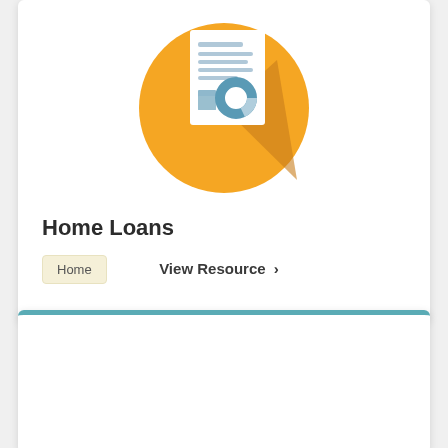[Figure (illustration): Circular orange icon with a document/report graphic showing text lines and a pie/donut chart in blue tones, with a shadow effect]
Home Loans
Home
View Resource ›